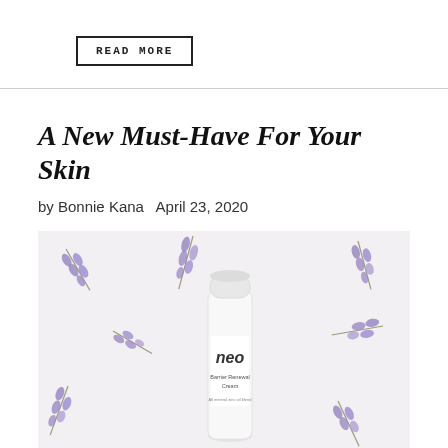READ MORE
A New Must-Have For Your Skin
by Bonnie Kana   April 23, 2020
[Figure (photo): Flat lay photo of a white Neo Barrier Renewal Cream skincare bottle surrounded by purple lavender sprigs on a white background]